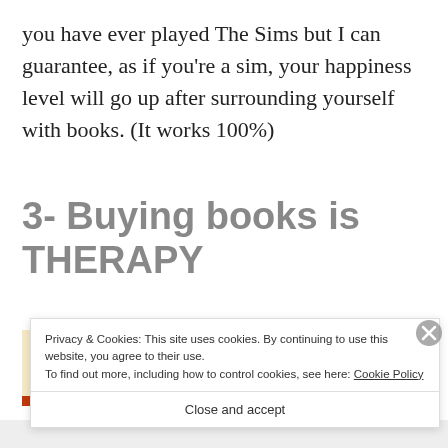you have ever played The Sims but I can guarantee, as if you're a sim, your happiness level will go up after surrounding yourself with books. (It works 100%)
3- Buying books is THERAPY
[Figure (photo): A photo showing a person outdoors with trees in the background, warm golden tones]
Privacy & Cookies: This site uses cookies. By continuing to use this website, you agree to their use.
To find out more, including how to control cookies, see here: Cookie Policy
Close and accept